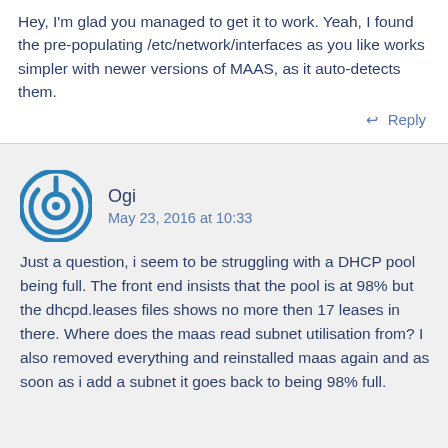Hey, I'm glad you managed to get it to work. Yeah, I found the pre-populating /etc/network/interfaces as you like works simpler with newer versions of MAAS, as it auto-detects them.
↩ Reply
Ogi
May 23, 2016 at 10:33
Just a question, i seem to be struggling with a DHCP pool being full. The front end insists that the pool is at 98% but the dhcpd.leases files shows no more then 17 leases in there. Where does the maas read subnet utilisation from? I also removed everything and reinstalled maas again and as soon as i add a subnet it goes back to being 98% full.